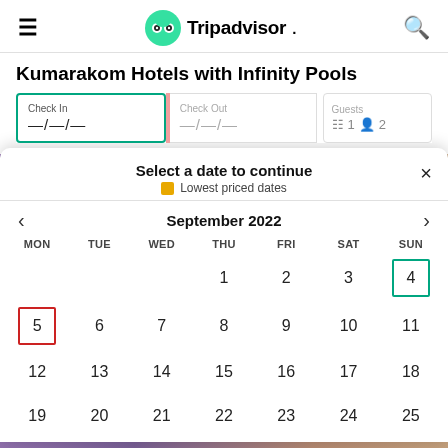Tripadvisor
Kumarakom Hotels with Infinity Pools
Check In —/—/—  Check Out —/—/—  Guests 1 2
Select a date to continue
Lowest priced dates
September 2022
| MON | TUE | WED | THU | FRI | SAT | SUN |
| --- | --- | --- | --- | --- | --- | --- |
|  |  |  | 1 | 2 | 3 | 4 |
| 5 | 6 | 7 | 8 | 9 | 10 | 11 |
| 12 | 13 | 14 | 15 | 16 | 17 | 18 |
| 19 | 20 | 21 | 22 | 23 | 24 | 25 |